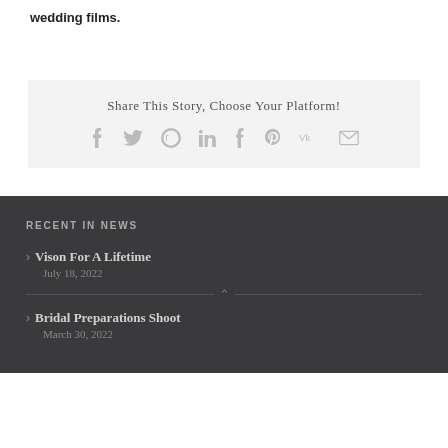wedding films.
Share This Story, Choose Your Platform!
RECENT IN NEWS
Vison For A Lifetime
July 18, 2022
Bridal Preparations Shoot
March 30, 2022